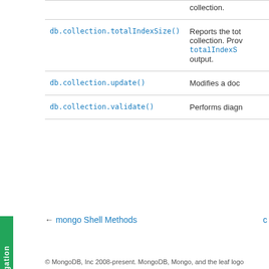| Method | Description |
| --- | --- |
|  | collection. |
| db.collection.totalIndexSize() | Reports the tot collection. Prov totalIndexS output. |
| db.collection.update() | Modifies a doc |
| db.collection.validate() | Performs diagn |
← mongo Shell Methods     c
© MongoDB, Inc 2008-present. MongoDB, Mongo, and the leaf logo